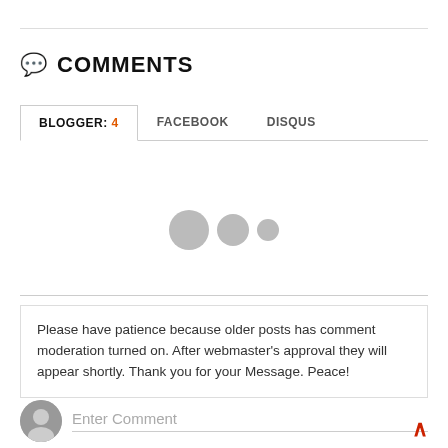💬 COMMENTS
BLOGGER: 4   FACEBOOK   DISQUS
[Figure (other): Three gray loading dots of decreasing size indicating content is loading]
Please have patience because older posts has comment moderation turned on. After webmaster's approval they will appear shortly. Thank you for your Message. Peace!
Enter Comment